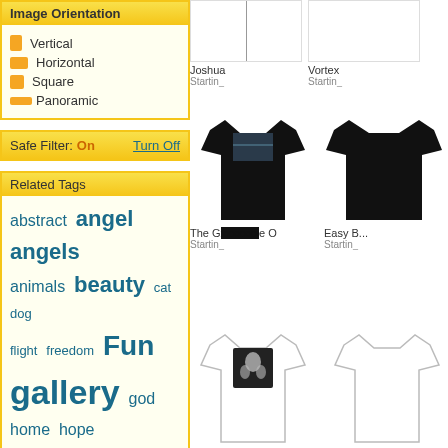Image Orientation
Vertical
Horizontal
Square
Panoramic
Safe Filter: On   Turn Off
Related Tags
abstract angel angels animals beauty cat dog flight freedom Fun gallery god home hope joy love madness manifestion meditation money music nature painting peace sea spirit spiritual surrealism
[Figure (screenshot): Product thumbnails showing black t-shirts and white t-shirts with printed designs. Labels: Joshua / Starting, Vortex / Starting, The G...e O / Starting, Easy B... / Starting, and two more partial white t-shirt items at bottom.]